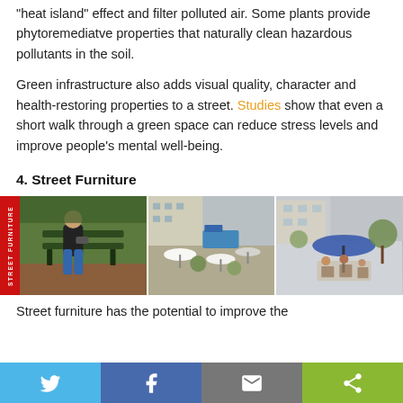“heat island” effect and filter polluted air. Some plants provide phytoremediatve properties that naturally clean hazardous pollutants in the soil.
Green infrastructure also adds visual quality, character and health-restoring properties to a street. Studies show that even a short walk through a green space can reduce stress levels and improve people’s mental well-being.
4. Street Furniture
[Figure (photo): Three photos showing street furniture: a man sitting on a bench in a park, an outdoor cafe/plaza with seating and umbrellas in an urban setting, and people seated under a large umbrella at an outdoor seating area.]
Street furniture has the potential to improve the
Share buttons: Twitter, Facebook, Email, Share